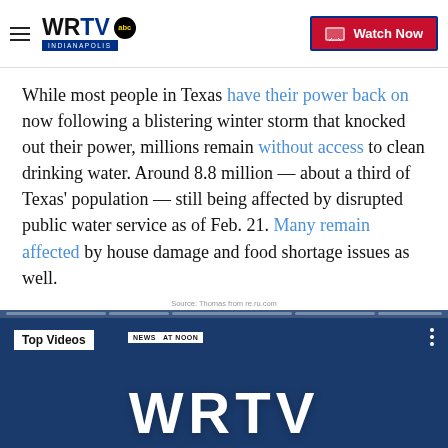WRTV Indianapolis | Watch Now
While most people in Texas have their power back on now following a blistering winter storm that knocked out their power, millions remain without access to clean drinking water. Around 8.8 million — about a third of Texas' population — still being affected by disrupted public water service as of Feb. 21. Many remain affected by house damage and food shortage issues as well.
Source: Thomas from re.ru.com
[Figure (screenshot): Video player screenshot showing WRTV Indianapolis news broadcast with 'Top Videos' label and 'NEWS AT NOON' chyron, displaying large WRTV logo on blue background]